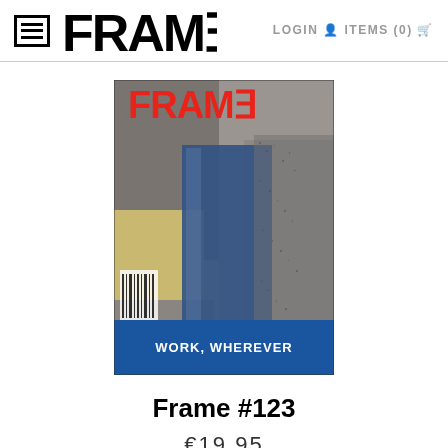FRAME  LOGIN  ITEMS (0)
[Figure (photo): Magazine cover of Frame #123 showing blue glass object on mixed textured background with red FRAME logo at top and 'WORK, WHEREVER' text banner at bottom]
Frame #123
€19,95